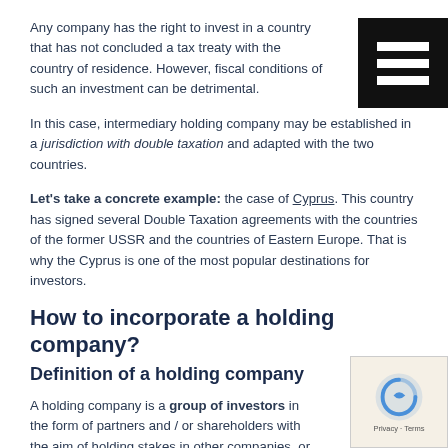Any company has the right to invest in a country that has not concluded a tax treaty with the country of residence. However, fiscal conditions of such an investment can be detrimental.
In this case, intermediary holding company may be established in a jurisdiction with double taxation and adapted with the two countries.
Let's take a concrete example: the case of Cyprus. This country has signed several Double Taxation agreements with the countries of the former USSR and the countries of Eastern Europe. That is why the Cyprus is one of the most popular destinations for investors.
How to incorporate a holding company?
Definition of a holding company
A holding company is a group of investors in the form of partners and / or shareholders with the aim of holding stakes in other companies, or even selling its services to these companies.